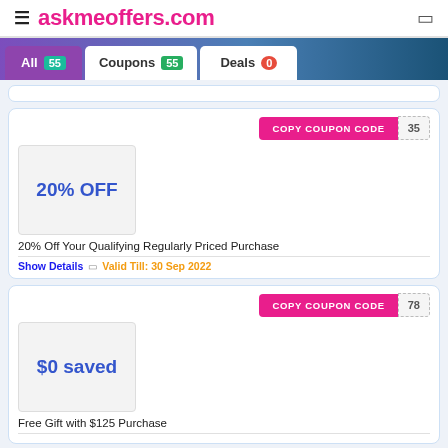askmeoffers.com
All 55  Coupons 55  Deals 0
COPY COUPON CODE  35
[Figure (other): Coupon box showing 20% OFF]
20% Off Your Qualifying Regularly Priced Purchase
Show Details  ❏  Valid Till: 30 Sep 2022
COPY COUPON CODE  78
[Figure (other): Coupon box showing $0 saved]
Free Gift with $125 Purchase